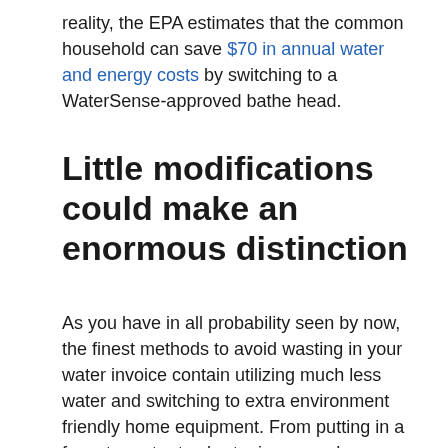reality, the EPA estimates that the common household can save $70 in annual water and energy costs by switching to a WaterSense-approved bathe head.
Little modifications could make an enormous distinction
As you have in all probability seen by now, the finest methods to avoid wasting in your water invoice contain utilizing much less water and switching to extra environment friendly home equipment. From putting in a faucet aerator to shortening your showers, every of those small modifications will enable you grow to be smarter about your water utilization — which